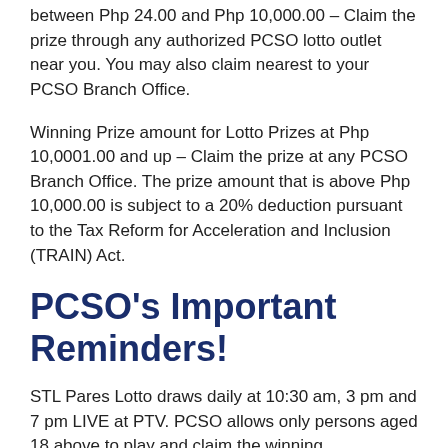between Php 24.00 and Php 10,000.00 – Claim the prize through any authorized PCSO lotto outlet near you. You may also claim nearest to your PCSO Branch Office.
Winning Prize amount for Lotto Prizes at Php 10,0001.00 and up – Claim the prize at any PCSO Branch Office. The prize amount that is above Php 10,000.00 is subject to a 20% deduction pursuant to the Tax Reform for Acceleration and Inclusion (TRAIN) Act.
PCSO's Important Reminders!
STL Pares Lotto draws daily at 10:30 am, 3 pm and 7 pm LIVE at PTV. PCSO allows only persons aged 18 above to play and claim the winning